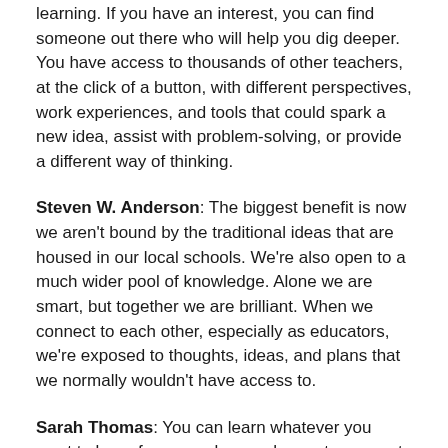learning. If you have an interest, you can find someone out there who will help you dig deeper. You have access to thousands of other teachers, at the click of a button, with different perspectives, work experiences, and tools that could spark a new idea, assist with problem-solving, or provide a different way of thinking.
Steven W. Anderson: The biggest benefit is now we aren't bound by the traditional ideas that are housed in our local schools. We're also open to a much wider pool of knowledge. Alone we are smart, but together we are brilliant. When we connect to each other, especially as educators, we're exposed to thoughts, ideas, and plans that we normally wouldn't have access to.
Sarah Thomas: You can learn whatever you want to learn from people you choose to connect with. Additionally, you can find collaborators for projects or global partners for your students. I first became connected in 2013 and learned so